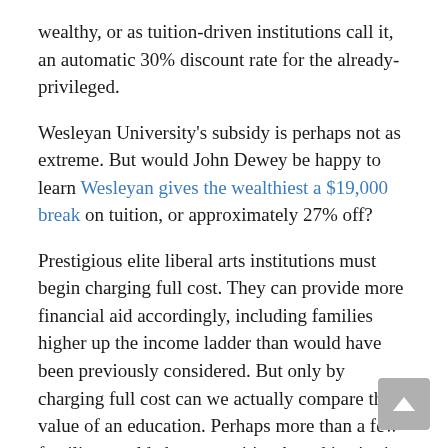wealthy, or as tuition-driven institutions call it, an automatic 30% discount rate for the already-privileged.
Wesleyan University's subsidy is perhaps not as extreme. But would John Dewey be happy to learn Wesleyan gives the wealthiest a $19,000 break on tuition, or approximately 27% off?
Prestigious elite liberal arts institutions must begin charging full cost. They can provide more financial aid accordingly, including families higher up the income ladder than would have been previously considered. But only by charging full cost can we actually compare the value of an education. Perhaps more than a few families would choose a tuition-based institution like Hartwick if it were a $30,000 annual difference!